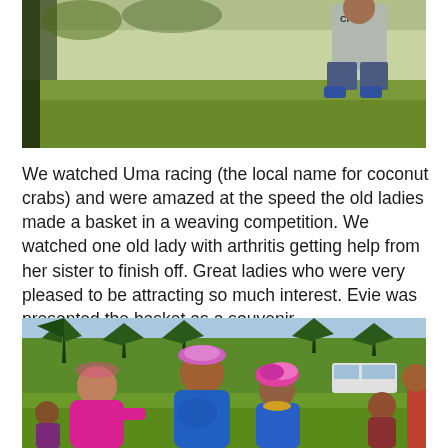[Figure (photo): Outdoor scene on grass with a person in a grey 'CREW' t-shirt crouching in background, green lawn, trees at left edge]
We watched Uma racing (the local name for coconut crabs) and were amazed at the speed the old ladies made a basket in a weaving competition. We watched one old lady with arthritis getting help from her sister to finish off. Great ladies who were very pleased to be attracting so much interest. Evie was presented the basket as a souvenir.
[Figure (photo): Group of Pacific Island women in colourful traditional dress standing on grass with palm trees in background; one woman in pink, one in blue, one older woman with floral headdress, children nearby, white van in background]